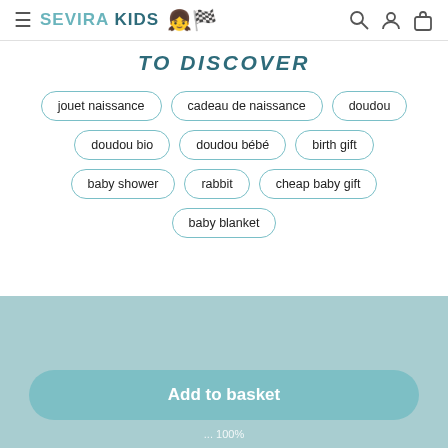SEVIRA KIDS
TO DISCOVER
jouet naissance
cadeau de naissance
doudou
doudou bio
doudou bébé
birth gift
baby shower
rabbit
cheap baby gift
baby blanket
Add to basket